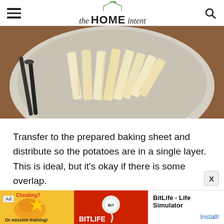the HOME intent
[Figure (photo): Overhead view of cut raw potato strips/fries in a white bowl with tongs, on a wooden surface]
Transfer to the prepared baking sheet and distribute so the potatoes are in a single layer. This is ideal, but it's okay if there is some overlap.
[Figure (screenshot): Ad banner for BitLife - Life simulator app with Install button]